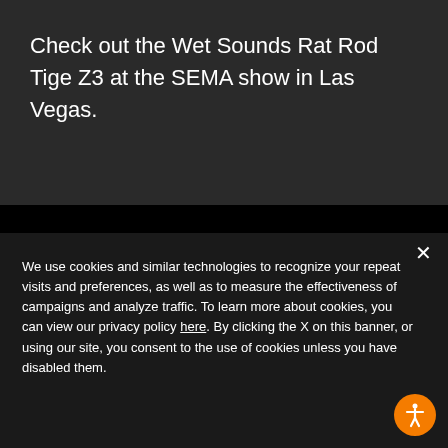Check out the Wet Sounds Rat Rod Tige Z3 at the SEMA show in Las Vegas.
STAY UP TO DATE WITH TIGE BOATS
We use cookies and similar technologies to recognize your repeat visits and preferences, as well as to measure the effectiveness of campaigns and analyze traffic. To learn more about cookies, you can view our privacy policy here. By clicking the X on this banner, or using our site, you consent to the use of cookies unless you have disabled them.